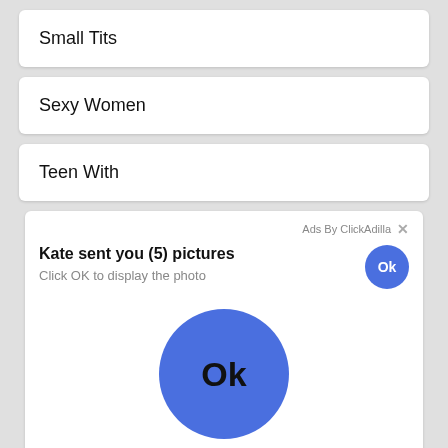Small Tits
Sexy Women
Teen With
Ads By ClickAdilla  ×
Kate sent you (5) pictures
Click OK to display the photo
[Figure (illustration): Large blue circle button with 'Ok' text in dark color]
2sd
Bleeding After